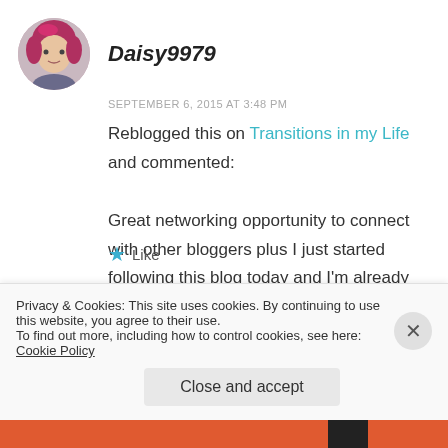[Figure (photo): Avatar of user Daisy9979 — a person with pink/red hair, circular crop]
Daisy9979
SEPTEMBER 6, 2015 AT 3:48 PM
Reblogged this on Transitions in my Life and commented:
Great networking opportunity to connect with other bloggers plus I just started following this blog today and I'm already loving what I'm reading so definitely check it out.
Like
Privacy & Cookies: This site uses cookies. By continuing to use this website, you agree to their use.
To find out more, including how to control cookies, see here: Cookie Policy
Close and accept